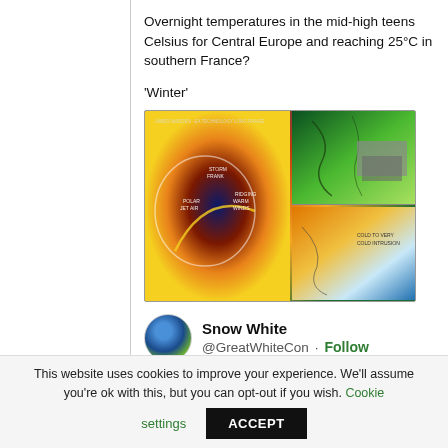Overnight temperatures in the mid-high teens Celsius for Central Europe and reaching 25°C in southern France?
'Winter'
[Figure (photo): Weather map composite showing two meteorological charts: left image shows a storm/polar vortex weather system with colored temperature gradients (blue, orange, brown); right side has two images showing European weather maps in green and orange-blue color scales.]
Snow White @GreatWhiteCon · Follow
This website uses cookies to improve your experience. We'll assume you're ok with this, but you can opt-out if you wish. Cookie settings ACCEPT